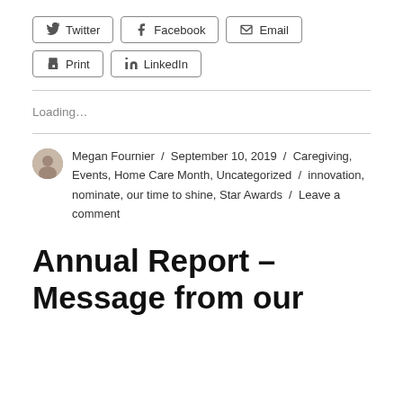[Figure (other): Social share buttons: Twitter, Facebook, Email, Print, LinkedIn]
Loading…
Megan Fournier / September 10, 2019 / Caregiving, Events, Home Care Month, Uncategorized / innovation, nominate, our time to shine, Star Awards / Leave a comment
Annual Report – Message from our